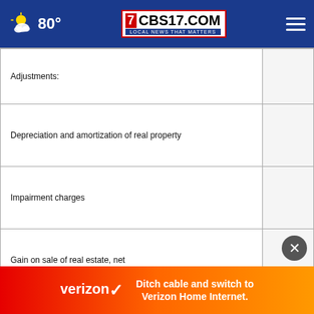80° CBS17.COM LOCAL NEWS THAT MATTERS
| Description | Value |
| --- | --- |
| Adjustments: |  |
| Depreciation and amortization of real property |  |
| Impairment charges |  |
| Gain on sale of real estate, net |  |
| Proportionate share of adjustments to earnings from equity method investments (a) (b) |  |
| Pro... |  |